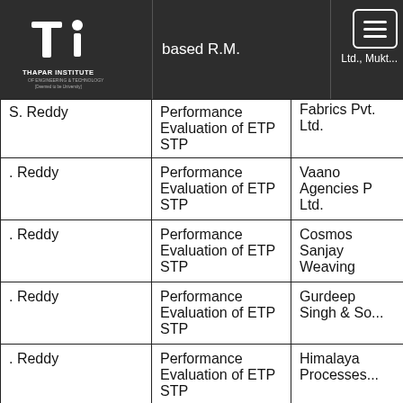[Figure (logo): Thapar Institute of Engineering and Technology logo on dark background]
|  | Performance Evaluation of ETP STP |  |
| --- | --- | --- |
| S. Reddy | Performance Evaluation of ETP STP | Ltd., Mukt... |
| S. Reddy | Performance Evaluation of ETP STP | Fabrics Pvt. Ltd. |
| . Reddy | Performance Evaluation of ETP STP | Vaano Agencies P Ltd. |
| . Reddy | Performance Evaluation of ETP STP | Cosmos Sanjay Weaving |
| . Reddy | Performance Evaluation of ETP STP | Gurdeep Singh & So... |
| . Reddy | Performance Evaluation of ETP STP | Himalaya Processes... |
| S. Reddy | Performance Evaluation of ETP STP | Sehgal Processors Pvt. Ltd. |
|  | Performance Evaluation of | Gillanders... |